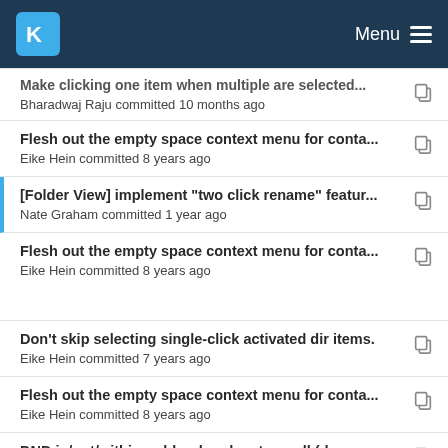KDE Menu
Make clicking one item when multiple are selected... — Bharadwaj Raju committed 10 months ago
Flesh out the empty space context menu for conta... — Eike Hein committed 8 years ago
[Folder View] implement "two click rename" featur... — Nate Graham committed 1 year ago
Flesh out the empty space context menu for conta... — Eike Hein committed 8 years ago
Don't skip selecting single-click activated dir items. — Eike Hein committed 7 years ago
Flesh out the empty space context menu for conta... — Eike Hein committed 8 years ago
DND in/out/within, rubber band, autoscroll (drag a...